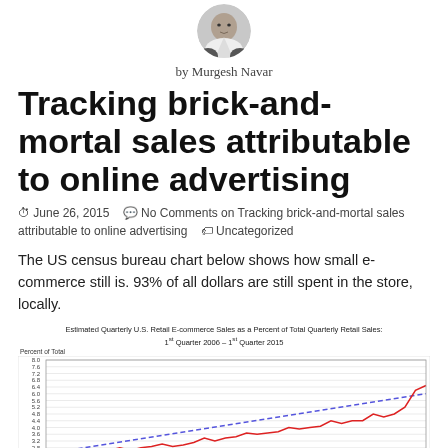[Figure (photo): Circular portrait photo of Murgesh Navar, a man in a light shirt]
by Murgesh Navar
Tracking brick-and-mortal sales attributable to online advertising
🕐 June 26, 2015   💬 No Comments on Tracking brick-and-mortal sales attributable to online advertising   🏷 Uncategorized
The US census bureau chart below shows how small e-commerce still is. 93% of all dollars are still spent in the store, locally.
[Figure (line-chart): Line chart with red zigzag line (actual data) and blue dashed trend line, showing e-commerce as percent of total retail sales rising from about 2.6% in 2006 to about 7.0% in Q1 2015]